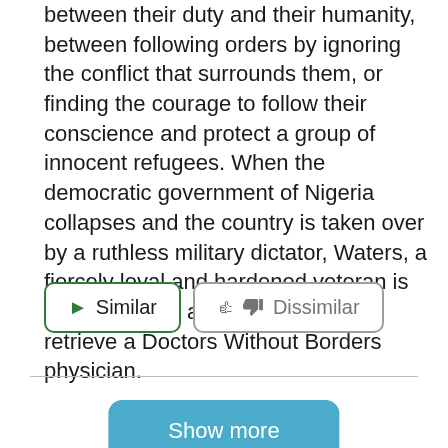between their duty and their humanity, between following orders by ignoring the conflict that surrounds them, or finding the courage to follow their conscience and protect a group of innocent refugees. When the democratic government of Nigeria collapses and the country is taken over by a ruthless military dictator, Waters, a fiercely loyal and hardened veteran is dispatched on a routine mission to retrieve a Doctors Without Borders physician.
▶ Similar   👎 Dissimilar
Show more